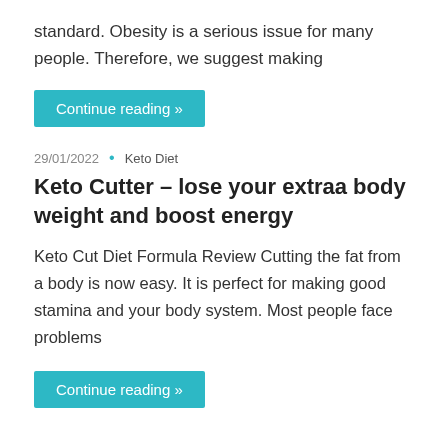standard. Obesity is a serious issue for many people. Therefore, we suggest making
Continue reading »
29/01/2022  •  Keto Diet
Keto Cutter – lose your extraa body weight and boost energy
Keto Cut Diet Formula Review Cutting the fat from a body is now easy. It is perfect for making good stamina and your body system. Most people face problems
Continue reading »